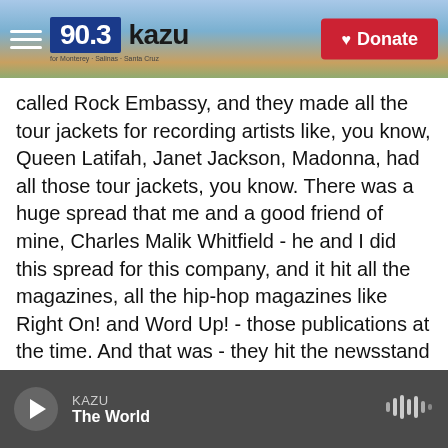[Figure (screenshot): KAZU 90.3 radio station website header with logo, hamburger menu, scenic coastal background photo, and red Donate button]
called Rock Embassy, and they made all the tour jackets for recording artists like, you know, Queen Latifah, Janet Jackson, Madonna, had all those tour jackets, you know. There was a huge spread that me and a good friend of mine, Charles Malik Whitfield - he and I did this spread for this company, and it hit all the magazines, all the hip-hop magazines like Right On! and Word Up! - those publications at the time. And that was - they hit the newsstand November 19, and I got cut November 22, you know.
GROSS: Wow.
KAZU  The World